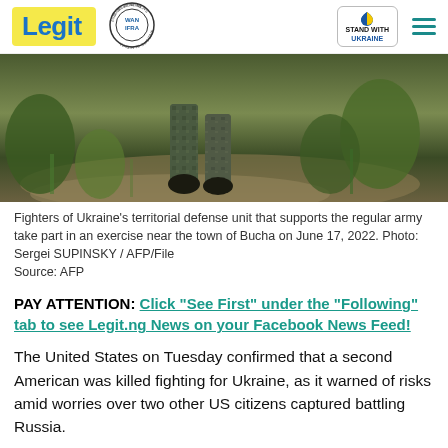Legit | WAN IFRA 2021 Best News Website in Africa | Stand With Ukraine
[Figure (photo): Fighters of Ukraine's territorial defense unit walking through muddy ground with vegetation, legs visible in camouflage gear]
Fighters of Ukraine's territorial defense unit that supports the regular army take part in an exercise near the town of Bucha on June 17, 2022. Photo: Sergei SUPINSKY / AFP/File
Source: AFP
PAY ATTENTION: Click "See First" under the "Following" tab to see Legit.ng News on your Facebook News Feed!
The United States on Tuesday confirmed that a second American was killed fighting for Ukraine, as it warned of risks amid worries over two other US citizens captured battling Russia.
The State Department said that 50-year-old Ste...